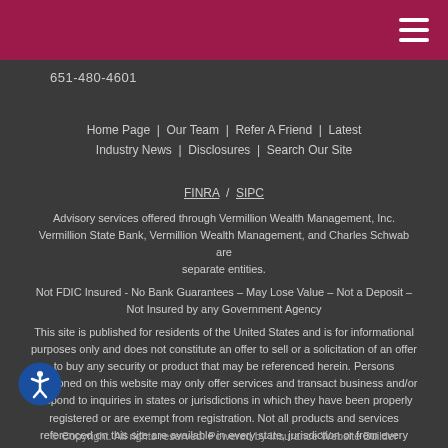Navigation header bar with hamburger menu
651-480-4601
Home Page | Our Team | Refer A Friend | Latest Industry News | Disclosures | Search Our Site
FINRA / SIPC
Advisory services offered through Vermillion Wealth Management, Inc. Vermillion State Bank, Vermillion Wealth Management, and Charles Schwab are separate entities.
Not FDIC Insured - No Bank Guarantees – May Lose Value – Not a Deposit – Not Insured by any Government Agency
This site is published for residents of the United States and is for informational purposes only and does not constitute an offer to sell or a solicitation of an offer to buy any security or product that may be referenced herein. Persons mentioned on this website may only offer services and transact business and/or respond to inquiries in states or jurisdictions in which they have been properly registered or are exempt from registration. Not all products and services referenced on this site are available in every state, jurisdiction or from every person listed.
© Copyright. All rights reserved. Powered by Insurance Website Builder